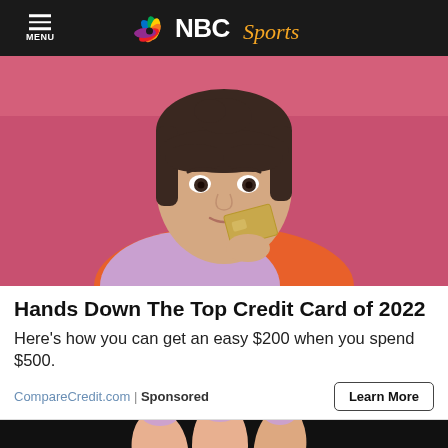NBC Sports
[Figure (photo): Young woman with dark hair and bangs holding a gold credit card near her face, smiling, against a pink background, wearing an orange top]
Hands Down The Top Credit Card of 2022
Here's how you can get an easy $200 when you spend $500.
CompareCredit.com | Sponsored
[Figure (photo): Partial view of fingers with painted nails against a dark background]